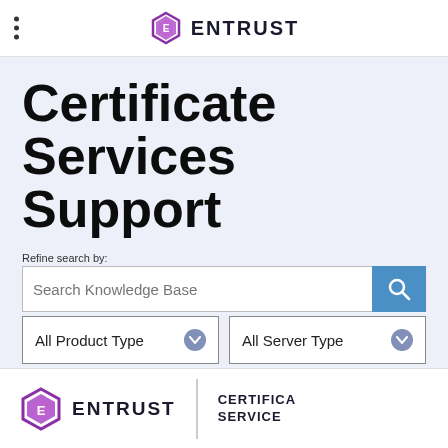ENTRUST
Certificate Services Support
Refine search by:
Search Knowledge Base
All Product Type
All Server Type
[Figure (logo): Entrust hexagon logo with text ENTRUST and CERTIFICATE SERVICES at the bottom of the page]